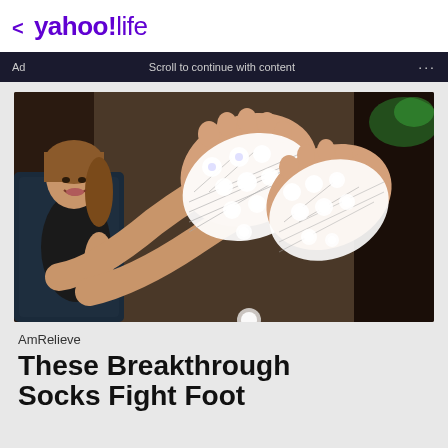< yahoo!life
Ad   Scroll to continue with content   ...
[Figure (photo): Woman sitting in a chair smiling, with both feet raised showing the soles wearing white compression/acupressure socks with circular pressure point markers glowing white, patterned with diagonal chevron designs.]
AmRelieve
These Breakthrough Socks Fight Foot